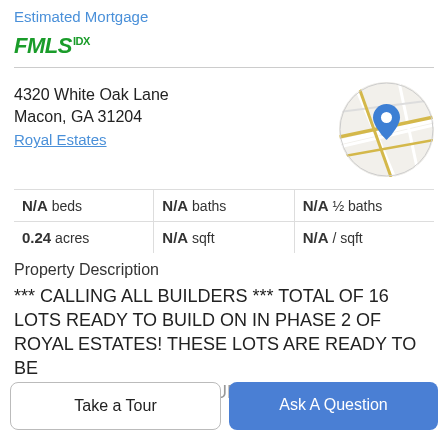Estimated Mortgage
[Figure (logo): FMLS IDX logo in green italic bold text]
4320 White Oak Lane
Macon, GA 31204
Royal Estates
[Figure (map): Circular map thumbnail showing street map with blue location pin marker]
| N/A beds | N/A baths | N/A ½ baths |
| 0.24 acres | N/A sqft | N/A / sqft |
Property Description
*** CALLING ALL BUILDERS *** TOTAL OF 16 LOTS READY TO BUILD ON IN PHASE 2 OF ROYAL ESTATES! THESE LOTS ARE READY TO BE
SURVEYED AND BUILT UPON
Take a Tour
Ask A Question